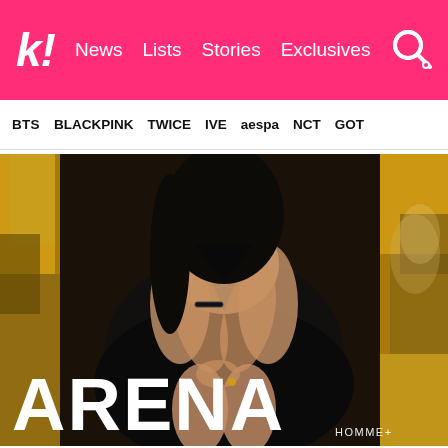k! News  Lists  Stories  Exclusives
BTS  BLACKPINK  TWICE  IVE  aespa  NCT  GOT7
[Figure (photo): Magazine cover photo for ARENA HOMME+ showing a woman in a black dress seated against gold metallic fabric background. Large white text 'ARENA' appears at the bottom left with 'HOMME+' in smaller text below.]